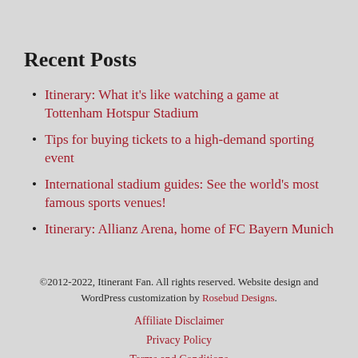Recent Posts
Itinerary: What it's like watching a game at Tottenham Hotspur Stadium
Tips for buying tickets to a high-demand sporting event
International stadium guides: See the world's most famous sports venues!
Itinerary: Allianz Arena, home of FC Bayern Munich
©2012-2022, Itinerant Fan. All rights reserved. Website design and WordPress customization by Rosebud Designs. | Affiliate Disclaimer | Privacy Policy | Terms and Conditions